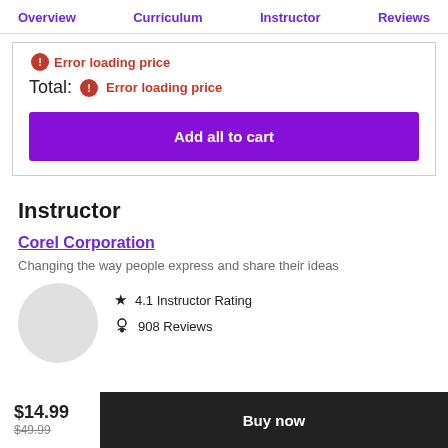Overview | Curriculum | Instructor | Reviews
Error loading price
Total: Error loading price
Add all to cart
Instructor
Corel Corporation
Changing the way people express and share their ideas
4.1 Instructor Rating
908 Reviews
$14.99 $49.99
Buy now